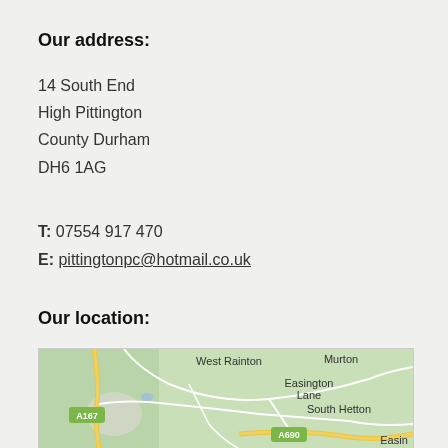Our address:
14 South End
High Pittington
County Durham
DH6 1AG
T: 07554 917 470
E: pittingtonpc@hotmail.co.uk
Our location:
[Figure (map): Google Maps view showing West Rainton, Easington Lane, Murton, South Hetton, Easin(gton), with roads A167 and A690 visible.]